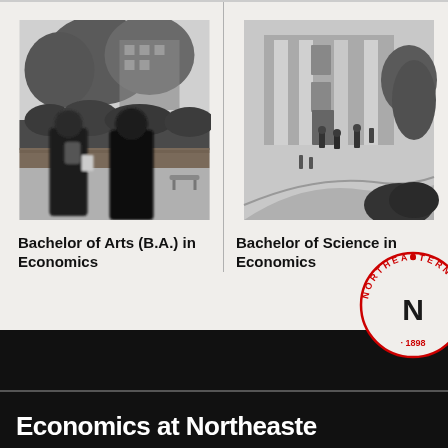[Figure (photo): Black and white photo of students walking on campus path with trees and building in background]
Bachelor of Arts (B.A.) in Economics
[Figure (photo): Black and white photo of campus building exterior with students walking outside]
Bachelor of Science in Economics
[Figure (logo): Northeastern University circular seal logo in red with '1898' text]
Economics at Northeastern...